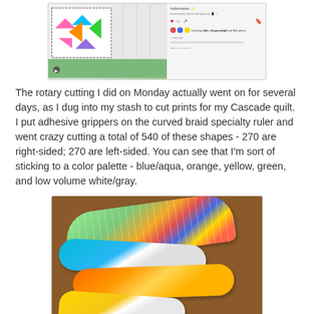[Figure (screenshot): Screenshot of an Instagram post showing a quilt with colorful triangular shapes on a white background, with green border at bottom. The right side shows Instagram UI elements including likes and comments.]
The rotary cutting I did on Monday actually went on for several days, as I dug into my stash to cut prints for my Cascade quilt. I put adhesive grippers on the curved braid specialty ruler and went crazy cutting a total of 540 of these shapes - 270 are right-sided; 270 are left-sided. You can see that I'm sort of sticking to a color palette - blue/aqua, orange, yellow, green, and low volume white/gray.
[Figure (photo): Photo of stacked curved fabric pieces cut for a Cascade quilt project, arranged on a brown wooden surface. The fabric pieces are in various colors including aqua/teal, orange, yellow with chevron pattern, and multicolor prints.]